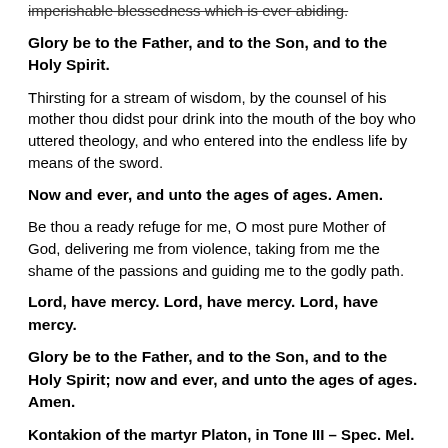imperishable blessedness which is ever abiding.
Glory be to the Father, and to the Son, and to the Holy Spirit.
Thirsting for a stream of wisdom, by the counsel of his mother thou didst pour drink into the mouth of the boy who uttered theology, and who entered into the endless life by means of the sword.
Now and ever, and unto the ages of ages. Amen.
Be thou a ready refuge for me, O most pure Mother of God, delivering me from violence, taking from me the shame of the passions and guiding me to the godly path.
Lord, have mercy. Lord, have mercy. Lord, have mercy.
Glory be to the Father, and to the Son, and to the Holy Spirit; now and ever, and unto the ages of ages. Amen.
Kontakion of the martyr Platon, in Tone III – Spec. Mel. "Today the Virgin …": Thy holy memory doth gladden the whole world, * summoning all the faithful to thine all honourable temple, * where, assembled now with joy, we chant in hymns amid splendour. * Wherefore, O Platon, we cry out to thee: ** Deliver